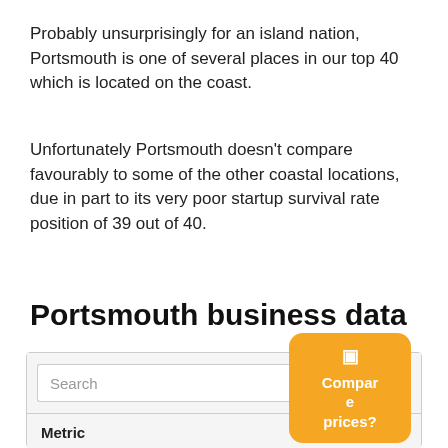Probably unsurprisingly for an island nation, Portsmouth is one of several places in our top 40 which is located on the coast.
Unfortunately Portsmouth doesn’t compare favourably to some of the other coastal locations, due in part to its very poor startup survival rate position of 39 out of 40.
Portsmouth business data
| Metric |
| --- |
| Average weekly FT earnings (£) |